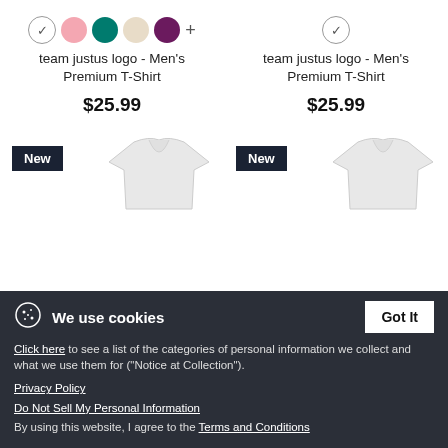[Figure (illustration): Color swatches row for product 1: check circle, pink, teal, cream, purple, plus sign]
team justus logo - Men's Premium T-Shirt
$25.99
[Figure (illustration): Check circle swatch for product 2]
team justus logo - Men's Premium T-Shirt
$25.99
[Figure (photo): New badge and white t-shirt product image (left column)]
[Figure (photo): New badge and white t-shirt product image (right column)]
We use cookies
Click here to see a list of the categories of personal information we collect and what we use them for ("Notice at Collection").
Privacy Policy
Do Not Sell My Personal Information
By using this website, I agree to the Terms and Conditions